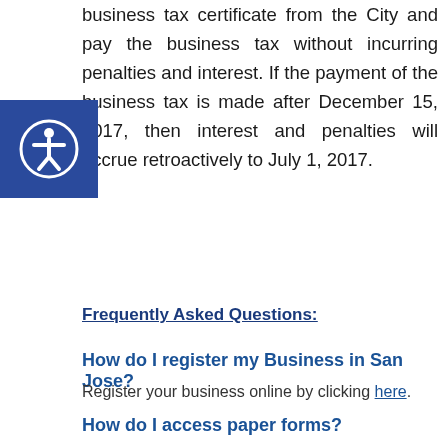business tax certificate from the City and pay the business tax without incurring penalties and interest. If the payment of the business tax is made after December 15, 2017, then interest and penalties will accrue retroactively to July 1, 2017.
Frequently Asked Questions:
How do I register my Business in San Jose?
Register your business online by clicking here.
How do I access paper forms?
For pdf forms, including Residential Rental Property Registration and Broker Declaration